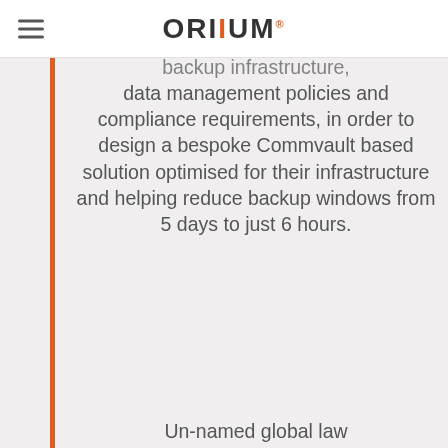ORIIUM
backup infrastructure, data management policies and compliance requirements, in order to design a bespoke Commvault based solution optimised for their infrastructure and helping reduce backup windows from 5 days to just 6 hours.
Un-named global law